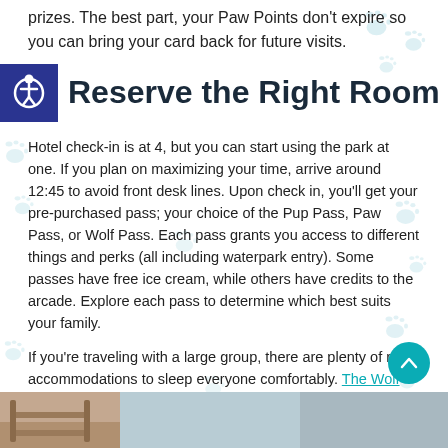prizes. The best part, your Paw Points don't expire so you can bring your card back for future visits.
Reserve the Right Room
Hotel check-in is at 4, but you can start using the park at one. If you plan on maximizing your time, arrive around 12:45 to avoid front desk lines. Upon check in, you'll get your pre-purchased pass; your choice of the Pup Pass, Paw Pass, or Wolf Pass. Each pass grants you access to different things and perks (all including waterpark entry). Some passes have free ice cream, while others have credits to the arcade. Explore each pass to determine which best suits your family.
If you're traveling with a large group, there are plenty of room accommodations to sleep everyone comfortably. The Wolf Den Suites are our fave because they come with themed walls and dens with bunk beds (SO cute). All rooms are nice and spacious.
[Figure (photo): Bottom strip showing a hotel room photo, partially visible at the bottom of the page]